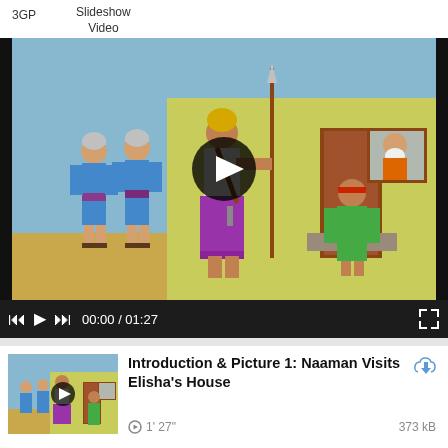3GP
Slideshow Video
[Figure (screenshot): Video player showing biblical illustration of Naaman visiting Elisha's house. Three soldiers on the left (two in blue robes with silver helmets, one in white and purple robe with gold helmet holding a spear). A servant in green stands at a doorway. An elderly figure in orange robe visible through a window. Sandy desert environment with yellow-green walls. Large circular black play button overlay in center.]
00:00 / 01:27
[Figure (illustration): Small thumbnail of the same biblical illustration showing Naaman visiting Elisha's house.]
Introduction & Picture 1: Naaman Visits Elisha's House
1' 27"
373 kB